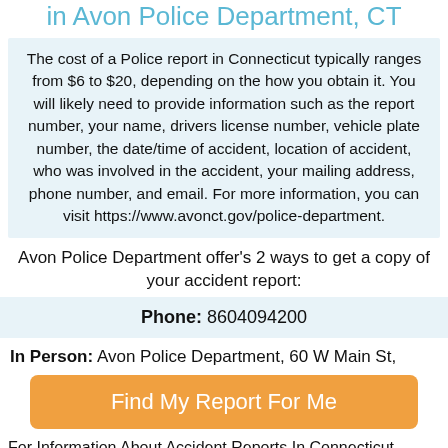in Avon Police Department, CT
The cost of a Police report in Connecticut typically ranges from $6 to $20, depending on the how you obtain it. You will likely need to provide information such as the report number, your name, drivers license number, vehicle plate number, the date/time of accident, location of accident, who was involved in the accident, your mailing address, phone number, and email. For more information, you can visit https://www.avonct.gov/police-department.
Avon Police Department offer's 2 ways to get a copy of your accident report:
Phone: 8604094200
In Person: Avon Police Department, 60 W Main St,
[Figure (other): Orange button with text 'Find My Report For Me']
For Information About Accident Reports In Connecticut,